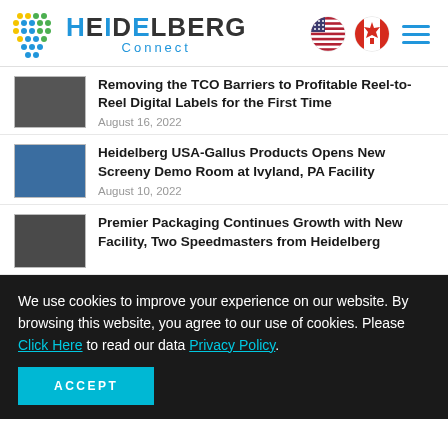HEIDELBERG Connect
Removing the TCO Barriers to Profitable Reel-to-Reel Digital Labels for the First Time
August 16, 2022
Heidelberg USA-Gallus Products Opens New Screeny Demo Room at Ivyland, PA Facility
August 10, 2022
Premier Packaging Continues Growth with New Facility, Two Speedmasters from Heidelberg
We use cookies to improve your experience on our website. By browsing this website, you agree to our use of cookies. Please Click Here to read our data Privacy Policy.
ACCEPT